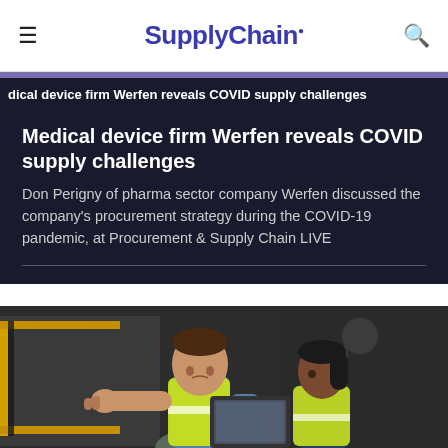SupplyChain.
dical device firm Werfen reveals COVID supply challenges
Medical device firm Werfen reveals COVID supply challenges
Don Perigny of pharma sector company Werfen discussed the company's procurement strategy during the COVID-19 pandemic, at Procurement & Supply Chain LIVE
[Figure (photo): Two warehouse workers in high-visibility vests looking at a tablet or document near industrial equipment]